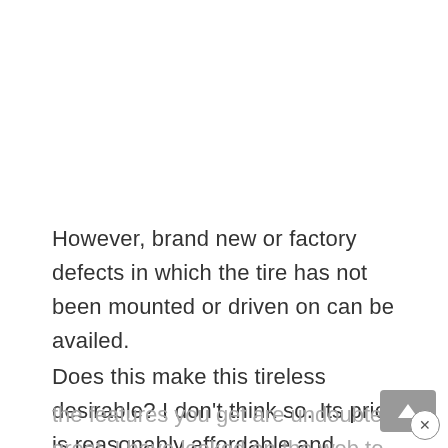However, brand new or factory defects in which the tire has not been mounted or driven on can be availed.
Does this make this tireless desirable? I don't think so. Its price is reasonably affordable and the features you get are undoubtedly great. I have looked on the web to find any warranty